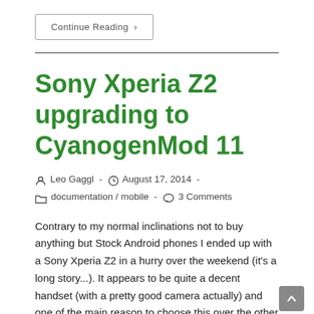Continue Reading ›
Sony Xperia Z2 upgrading to CyanogenMod 11
Leo Gaggl · August 17, 2014 · documentation / mobile · 3 Comments
Contrary to my normal inclinations not to buy anything but Stock Android phones I ended up with a Sony Xperia Z2 in a hurry over the weekend (it's a long story...). It appears to be quite a decent handset (with a pretty good camera actually) and one of the main reason to choose this over the other options was that is was one of the few high-end devices which already had a CM